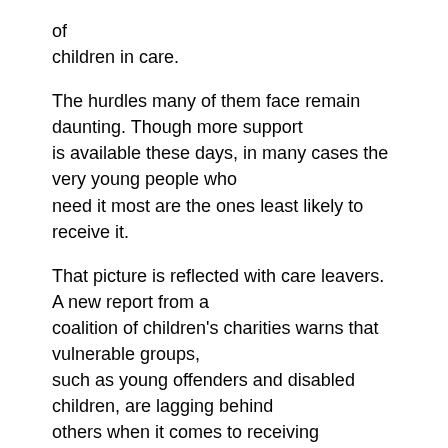of
children in care.
The hurdles many of them face remain daunting. Though more support is available these days, in many cases the very young people who need it most are the ones least likely to receive it.
That picture is reflected with care leavers. A new report from a coalition of children's charities warns that vulnerable groups, such as young offenders and disabled children, are lagging behind others when it comes to receiving assistance with moving on from care.
Nearly three years on from the introduction of the much-